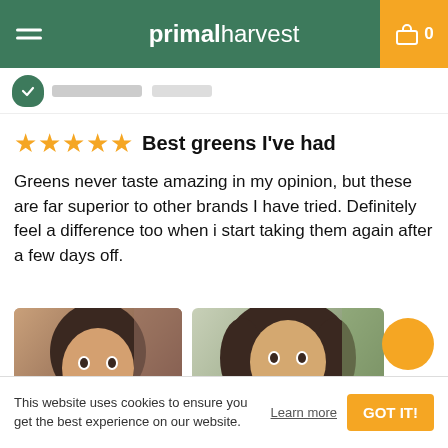primalharvest — hamburger menu, cart icon 0
[Figure (photo): Verified reviewer badge with shield checkmark icon and partially visible reviewer name]
★★★★★  Best greens I've had
Greens never taste amazing in my opinion, but these are far superior to other brands I have tried. Definitely feel a difference too when i start taking them again after a few days off.
[Figure (photo): Photo of a woman with curly hair making a face, selfie style]
[Figure (photo): Photo of a smiling woman with curly hair holding a green bag of Primal Greens supplement]
This website uses cookies to ensure you get the best experience on our website.
Learn more
GOT IT!